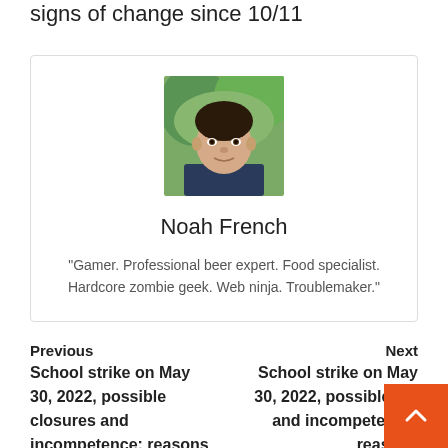signs of change since 10/11
[Figure (photo): Headshot photo of a young man (Noah French) with short dark hair, wearing a dark shirt, with trees/greenery in the background.]
Noah French
"Gamer. Professional beer expert. Food specialist. Hardcore zombie geek. Web ninja. Troublemaker."
Previous
Next
School strike on May 30, 2022, possible closures and incompetence: reasons
School strike on May 30, 2022, possible closures and incompetence: reasons